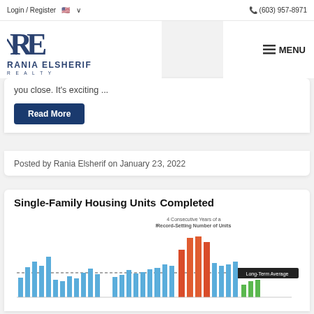Login / Register  🇺🇸 ∨    (603) 957-8971
[Figure (logo): Rania Elsherif Realty logo with stylized RE letters]
you close. It's exciting ...
Read More
Posted by Rania Elsherif on January 23, 2022
[Figure (bar-chart): Bar chart showing single-family housing units completed over time, with blue bars for most years, red/orange bars for 4 consecutive record-setting years, and green bars at the end. A dashed horizontal line marks the Long-Term Average.]